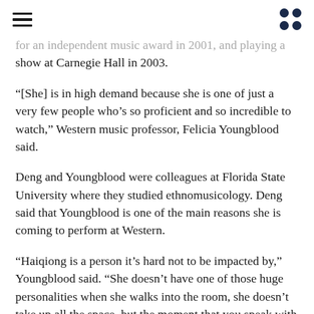[hamburger menu icon] [dots grid icon]
for an independent music award in 2001, and playing a show at Carnegie Hall in 2003.
“[She] is in high demand because she is one of just a very few people who’s so proficient and so incredible to watch,” Western music professor, Felicia Youngblood said.
Deng and Youngblood were colleagues at Florida State University where they studied ethnomusicology. Deng said that Youngblood is one of the main reasons she is coming to perform at Western.
“Haiqiong is a person it’s hard not to be impacted by,” Youngblood said. “She doesn’t have one of those huge personalities when she walks into the room, she doesn’t take up all the space, but the moment that you speak with her she is very interested.”